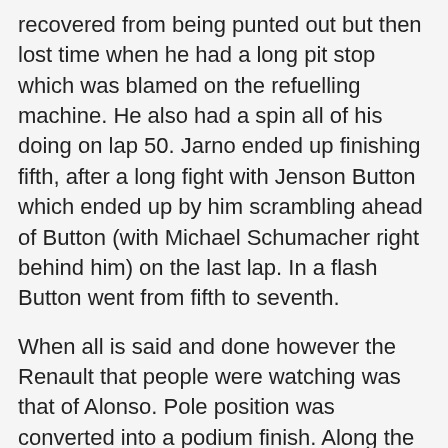recovered from being punted out but then lost time when he had a long pit stop which was blamed on the refuelling machine. He also had a spin all of his doing on lap 50. Jarno ended up finishing fifth, after a long fight with Jenson Button which ended up by him scrambling ahead of Button (with Michael Schumacher right behind him) on the last lap. In a flash Button went from fifth to seventh.
When all is said and done however the Renault that people were watching was that of Alonso. Pole position was converted into a podium finish. Along the way Fernando had gearbox trouble and suffered because of a fever but he made it home and, according to team boss Flavio Briatore, the team "proved our choices in terms of strategy were correct".
The strategy therefore must have been to go for a podium finish because the team understands that the car is not quick enough to take on the really big guys over a race distance. Asking for more than that was unreasonable.
The man who ended up splitting the Renaults in the results was Ralf Schumacher, who profited from the